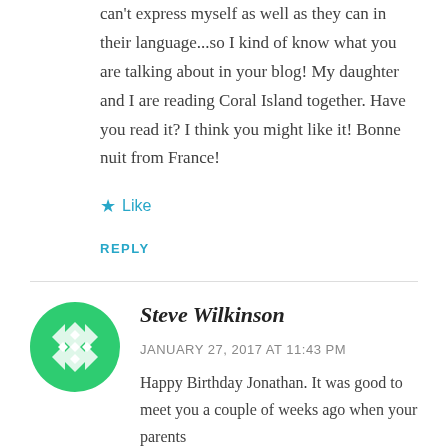can't express myself as well as they can in their language...so I kind of know what you are talking about in your blog! My daughter and I are reading Coral Island together. Have you read it? I think you might like it! Bonne nuit from France!
★ Like
REPLY
Steve Wilkinson
JANUARY 27, 2017 AT 11:43 PM
Happy Birthday Jonathan. It was good to meet you a couple of weeks ago when your parents